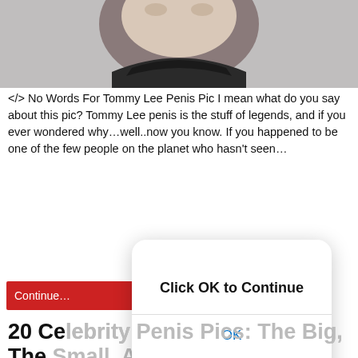[Figure (photo): Top portion of a man's face/head in a dark jacket, cropped, on gray background]
</> No Words For Tommy Lee Penis Pic I mean what do you say about this pic? Tommy Lee penis is the stuff of legends, and if you ever wondered why…well..now you know. If you happened to be one of the few people on the planet who hasn't seen…
[Figure (screenshot): Modal dialog overlay with 'Click OK to Continue' title and OK button in iOS style]
20 Celebrity Penis Pics: The Big, The Small, And The Oh My Goodness!
A Big Butt and a Smile, June 6, 2014, Celeb Roundups, 0
[Figure (photo): Top of a man's head with short dark hair, partial face visible, gray background]